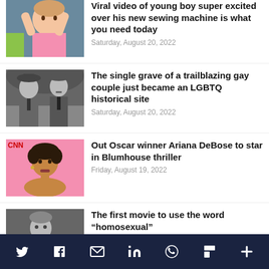[Figure (photo): Partial view of a young boy with hands on head, sitting on a couch]
Viral video of young boy super excited over his new sewing machine is what you need today
Saturday, August 20, 2022
[Figure (photo): Black and white photo of two older men in suits and ties]
The single grave of a trailblazing gay couple just became an LGBTQ historical site
Saturday, August 20, 2022
[Figure (photo): Woman with short curly hair against a pink background]
Out Oscar winner Ariana DeBose to star in Blumhouse thriller
Friday, August 19, 2022
[Figure (photo): Black and white photo of a young man indoors]
The first movie to use the word “homosexual”
Friday, August 19, 2022
Twitter Facebook Email LinkedIn WhatsApp Flipboard More